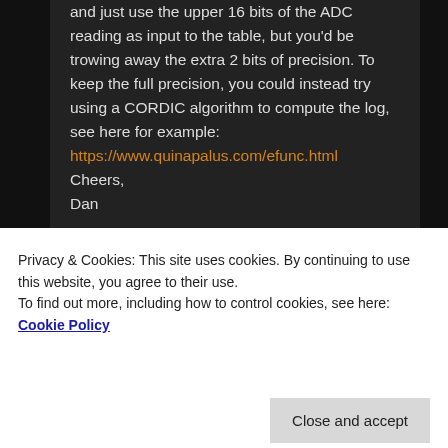and just use the upper 16 bits of the ADC reading as input to the table, but you'd be trowing away the extra 2 bits of precision. To keep the full precision, you could instead try using a CORDIC algorithm to compute the log, see here for example: https://www.quinapalus.com/efunc.html Cheers, Dan
★ Like
Reply ↓
Privacy & Cookies: This site uses cookies. By continuing to use this website, you agree to their use. To find out more, including how to control cookies, see here: Cookie Policy
Close and accept
I'm wondering if I might future proof